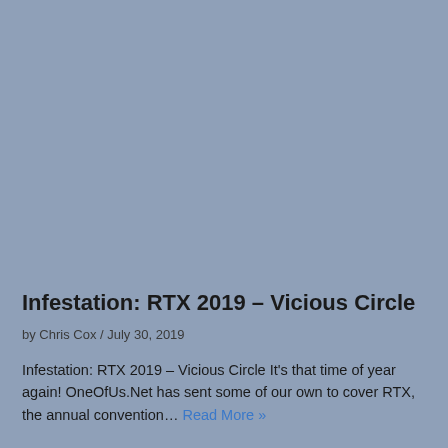[Figure (photo): Large blue-grey image taking up the top portion of the page]
Infestation: RTX 2019 – Vicious Circle
by Chris Cox / July 30, 2019
Infestation: RTX 2019 – Vicious Circle It's that time of year again! OneOfUs.Net has sent some of our own to cover RTX, the annual convention… Read More »